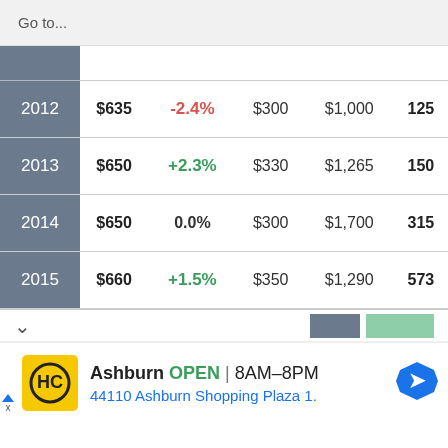Go to...
| Year | Price | Change | Low | High | Count |
| --- | --- | --- | --- | --- | --- |
| 2012 | $635 | -2.4% | $300 | $1,000 | 125 |
| 2013 | $650 | +2.3% | $330 | $1,265 | 150 |
| 2014 | $650 | 0.0% | $300 | $1,700 | 315 |
| 2015 | $660 | +1.5% | $350 | $1,290 | 573 |
Ashburn  OPEN  8AM–8PM  44110 Ashburn Shopping Plaza 1.